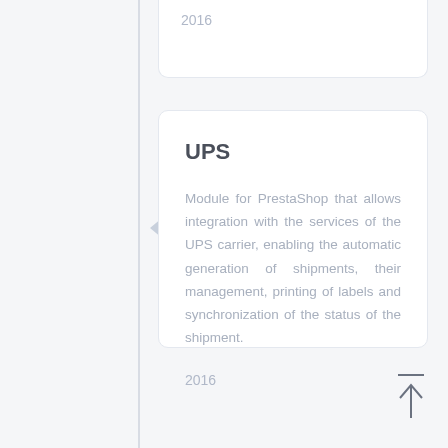2016
UPS
Module for PrestaShop that allows integration with the services of the UPS carrier, enabling the automatic generation of shipments, their management, printing of labels and synchronization of the status of the shipment.
2016